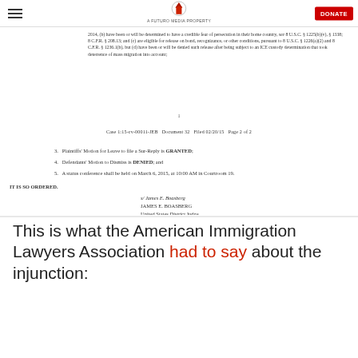A FUTURO MEDIA PROPERTY | DONATE
2014, (b) have been or will be determined to have a credible fear of persecution in their home country, see 8 U.S.C. § 1225(b)(v), § 1338; 8 C.F.R. § 208.13; and (c) are eligible for release on bond, recognizance, or other conditions, pursuant to 8 U.S.C. § 1226(a)(2) and 8 C.F.R. § 1236.1(b), but (d) have been or will be denied such release after being subject to an ICE custody determination that took deterrence of mass migration into account;
1
Case 1:15-cv-00011-JEB   Document 32   Filed 02/20/15   Page 2 of 2
3.  Plaintiffs' Motion for Leave to file a Sur-Reply is GRANTED;
4.  Defendants' Motion to Dismiss is DENIED; and
5.  A status conference shall be held on March 6, 2015, at 10:00 AM in Courtroom 19.
IT IS SO ORDERED.
s/ James E. Boasberg
JAMES E. BOASBERG
United States District Judge
Date:  February 20, 2015
This is what the American Immigration Lawyers Association had to say about the injunction: